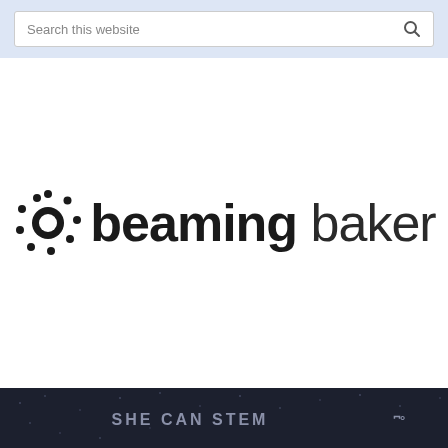Search this website
[Figure (logo): Beaming Baker logo with sun icon and bold/regular text reading 'beaming baker']
[Figure (screenshot): Dark navy bottom banner showing 'SHE CAN STEM' text in grey letters with a small multi-W logo on the right]